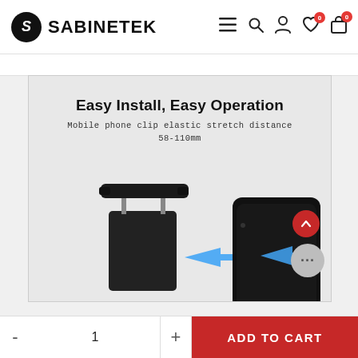SABINETEK
[Figure (photo): Product detail image showing a phone holder/clip mount with text 'Easy Install, Easy Operation'. Includes a phone clip illustration with elastic stretch showing 58-110mm range, with blue arrows indicating phone insertion direction. A smartphone is shown next to the mount.]
Easy Install, Easy Operation
Mobile phone clip elastic stretch distance 58-110mm
ADD TO CART